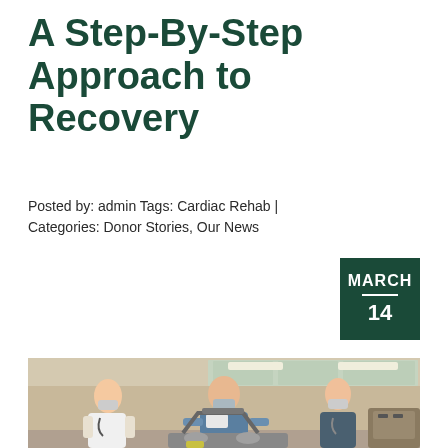A Step-By-Step Approach to Recovery
Posted by: admin Tags: Cardiac Rehab | Categories: Donor Stories, Our News
MARCH 14
[Figure (photo): A patient in blue scrubs and face mask seated on a stationary exercise bike/rehabilitation equipment, with two female healthcare workers in masks standing behind him in a clinical rehabilitation gym setting with fluorescent lighting and glass-paneled walls.]